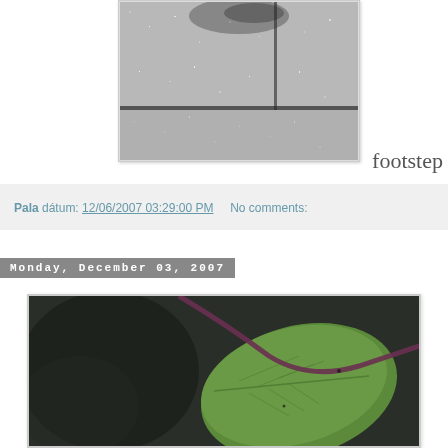[Figure (photo): Close-up photograph of concrete or stone pavement tiles with visible seams and texture, showing a gritty gray surface with a dark stain or shadow at top]
footstep
Pala dátum: 12/06/2007 03:29:00 PM    No comments:
Monday, December 03, 2007
[Figure (photo): Close-up macro photograph of a green leaf with a purple/red stem, showing detailed leaf venation against a blurred dark background]